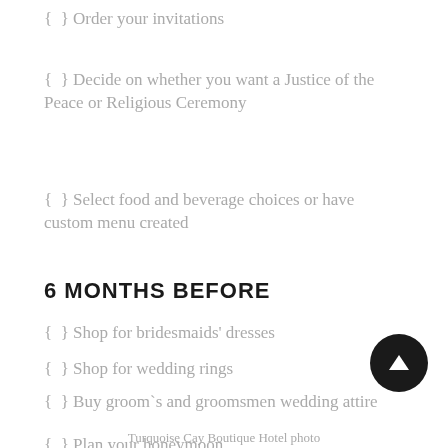{ } Order your invitations
{ } Decide on whether you want a Justice of the Peace or Religious Ceremony
{ } Select food and beverage choices or have custom menu created
6 MONTHS BEFORE
{ } Shop for bridesmaids' dresses
{ } Shop for wedding rings
{ } Buy groom`s and groomsmen wedding attire
{ } Plan your honeymoon
Turquoise Cay Boutique Hotel photo